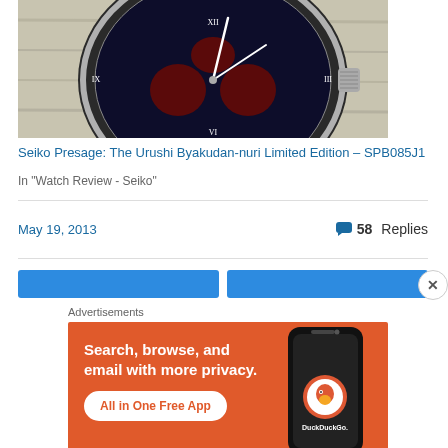[Figure (photo): Close-up photograph of a Seiko Presage automatic watch with dark dial, showing chronograph subdials, Roman numerals, and silver crown on right side, placed on a light wooden surface.]
Seiko Presage: The Urushi Byakudan-nuri Limited Edition – SPB085J1
In "Watch Review - Seiko"
May 19, 2013
58 Replies
[Figure (screenshot): Two blue navigation button bars partially visible]
Advertisements
[Figure (photo): DuckDuckGo advertisement banner with orange background showing text 'Search, browse, and email with more privacy. All in One Free App' with a DuckDuckGo logo and smartphone mockup on the right side.]